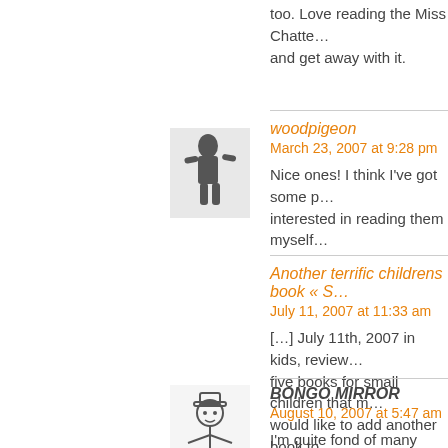too. Love reading the Miss Chatte... and get away with it.
[Figure (photo): Avatar silhouette of a person standing]
woodpigeon
March 23, 2007 at 9:28 pm
Nice ones! I think I've got some p... interested in reading them myself...
Another terrific childrens book « S...
July 11, 2007 at 11:33 am
[...] July 11th, 2007 in kids, review... five books for small children that m... would like to add another book to...
[Figure (illustration): Stick figure drawing avatar]
BONGO MIRROR
August 10, 2007 at 5:47 am
I'm quite fond of many books by R... favourite is "Good Families Don't"...